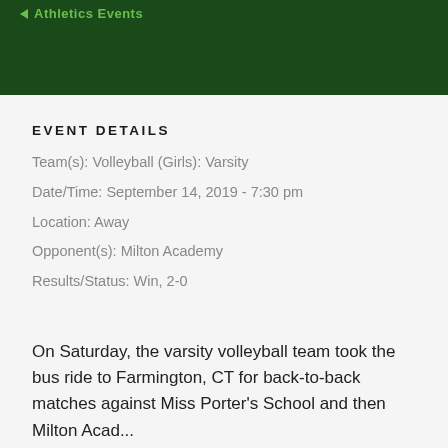Athletics Events
EVENT DETAILS
Team(s): Volleyball (Girls): Varsity
Date/Time: September 14, 2019 - 7:30 pm
Location: Away
Opponent(s): Milton Academy
Results/Status: Win, 2-0
On Saturday, the varsity volleyball team took the bus ride to Farmington, CT for back-to-back matches against Miss Porter's School and then Milton Academy